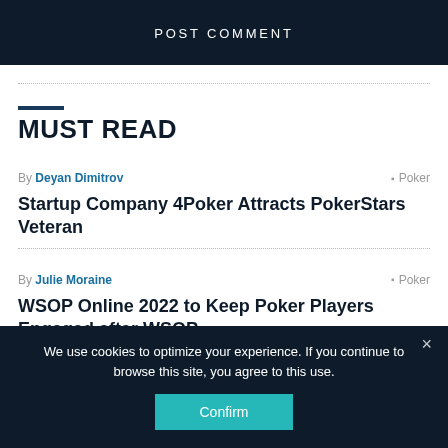POST COMMENT
MUST READ
By Deyan Dimitrov  •  Poker
Startup Company 4Poker Attracts PokerStars Veteran
By Julie Moraine  •  Poker
WSOP Online 2022 to Keep Poker Players Engaged after WSOP
We use cookies to optimize your experience. If you continue to browse this site, you agree to this use.
Confirm